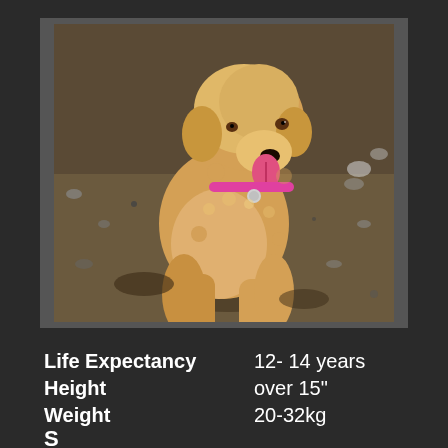[Figure (photo): A golden/apricot colored poodle dog running on a beach or sandy area with pebbles, wearing a pink collar with a tag, tongue out, photographed from front angle.]
| Life Expectancy | 12- 14 years |
| Height | over 15" |
| Weight | 20-32kg |
S...